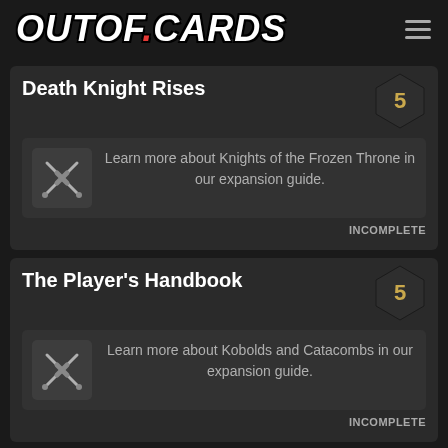OUTOF.CARDS
Death Knight Rises
Learn more about Knights of the Frozen Throne in our expansion guide.
The Player's Handbook
Learn more about Kobolds and Catacombs in our expansion guide.
Which Wood?